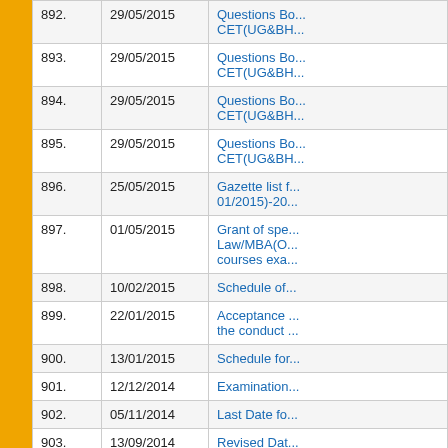| No. | Date | Title |
| --- | --- | --- |
| 892. | 29/05/2015 | Questions Bo... CET(UG&BH... |
| 893. | 29/05/2015 | Questions Bo... CET(UG&BH... |
| 894. | 29/05/2015 | Questions Bo... CET(UG&BH... |
| 895. | 29/05/2015 | Questions Bo... CET(UG&BH... |
| 896. | 25/05/2015 | Gazette list f... 01/2015)-20... |
| 897. | 01/05/2015 | Grant of spe... Law/MBA(O... courses exa... |
| 898. | 10/02/2015 | Schedule of... |
| 899. | 22/01/2015 | Acceptance ... the conduct ... |
| 900. | 13/01/2015 | Schedule for... |
| 901. | 12/12/2014 | Examination... |
| 902. | 05/11/2014 | Last Date fo... |
| 903. | 13/09/2014 | Revised Dat... B.A/B.Sc(Ge... |